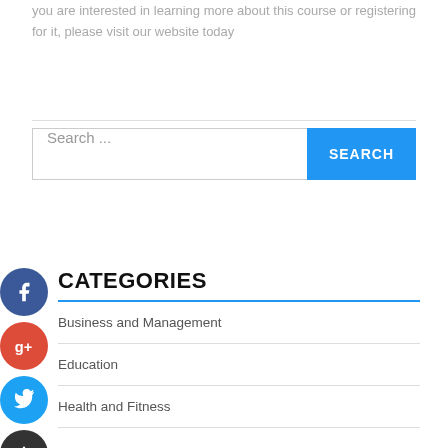you are interested in learning more about this course or registering for it, please visit our website today
Search ...
CATEGORIES
Business and Management
Education
Health and Fitness